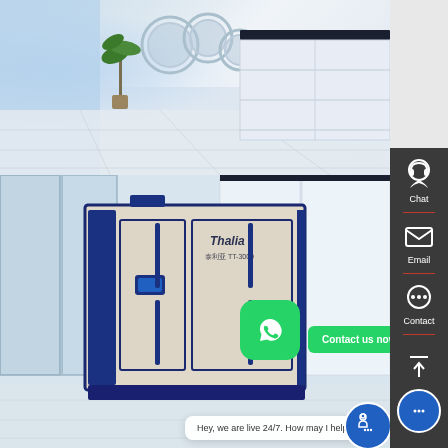[Figure (photo): Top photo: modern interior with white cabinet/reception desk and large circular objects on the left wall, plant, large windows with natural light, white tiled floor]
[Figure (photo): Bottom photo: industrial machine labeled 'Thalia' with blue trim and beige body in a bright modern facility with glass panels and white walls]
Chat
Email
Contact
Contact us now!
Hey, we are live 24/7. How may I help you?